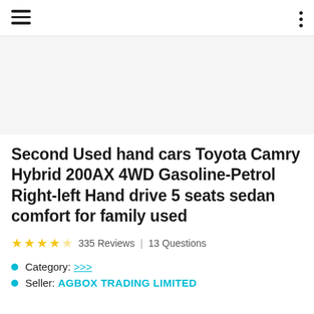[Figure (photo): Product image area (blank/white placeholder for Toyota Camry Hybrid vehicle photo)]
Second Used hand cars Toyota Camry Hybrid 200AX 4WD Gasoline-Petrol Right-left Hand drive 5 seats sedan comfort for family used
★★★★☆ 335 Reviews | 13 Questions
Category: >>>
Seller: AGBOX TRADING LIMITED